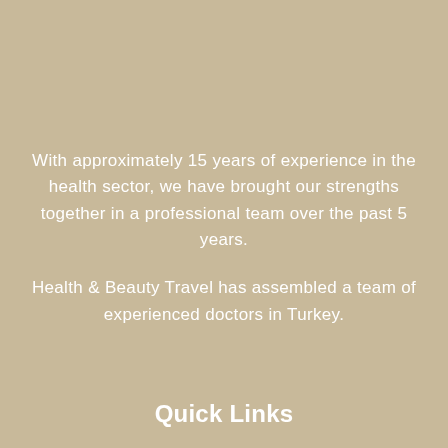With approximately 15 years of experience in the health sector, we have brought our strengths together in a professional team over the past 5 years.

Health & Beauty Travel has assembled a team of experienced doctors in Turkey.
Quick Links
About Us
Hotel Information